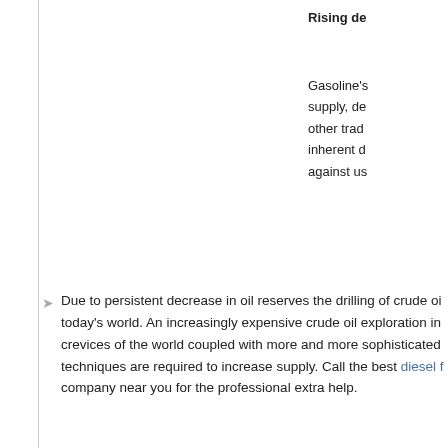Rising de
Gasoline's supply, de other trad inherent d against us
Due to persistent decrease in oil reserves the drilling of crude oi today's world. An increasingly expensive crude oil exploration in crevices of the world coupled with more and more sophisticated techniques are required to increase supply. Call the best diesel f company near you for the professional extra help.
[Figure (photo): Black and white photo of a motorcycle or vehicle engine/dashboard area with US dollar bills visible, suggesting fuel cost or financial burden concept]